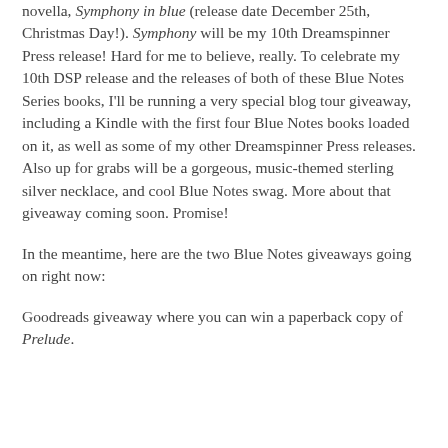novella, Symphony in blue (release date December 25th, Christmas Day!). Symphony will be my 10th Dreamspinner Press release! Hard for me to believe, really. To celebrate my 10th DSP release and the releases of both of these Blue Notes Series books, I'll be running a very special blog tour giveaway, including a Kindle with the first four Blue Notes books loaded on it, as well as some of my other Dreamspinner Press releases. Also up for grabs will be a gorgeous, music-themed sterling silver necklace, and cool Blue Notes swag. More about that giveaway coming soon. Promise!
In the meantime, here are the two Blue Notes giveaways going on right now:
Goodreads giveaway where you can win a paperback copy of Prelude.